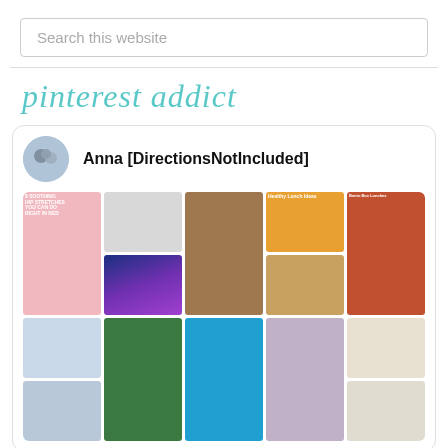Search this website
pinterest addict
Anna [DirectionsNotIncluded]
[Figure (screenshot): Pinterest board mosaic showing various pinned images including hip stretches, bullet journal, exterior house, healthy lunch ideas, bento box lunches, eye makeup, jewelry pendant, kayak, black cat costume, and food photos]